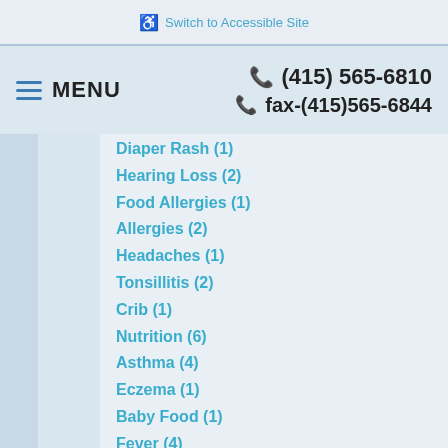♿ Switch to Accessible Site
≡ MENU   ☎ (415) 565-6810   ☎ fax-(415)565-6844
Diaper Rash (1)
Hearing Loss (2)
Food Allergies (1)
Allergies (2)
Headaches (1)
Tonsillitis (2)
Crib (1)
Nutrition (6)
Asthma (4)
Eczema (1)
Baby Food (1)
Fever (4)
Germs (1)
Prevention (1)
Infant Jaundice (1)
Sun Safety (1)